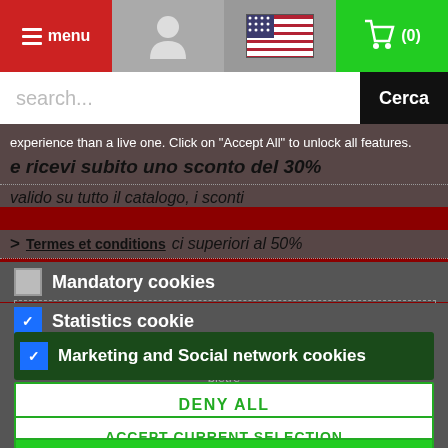menu | user icon | US flag | cart (0)
search...
experience than a live one. Click on "Accept All" to unlock all features.
e ricevi subito uno sconto del 30%
valido su tutto il catalogo, i sconti
Termes et conditions
superiori al 50%
Mandatory cookies
Statistics cookie
Marketing and Social network cookies
DENY ALL
pietre
ACCEPT CURRENT SELECTION
ACCEPT ALL